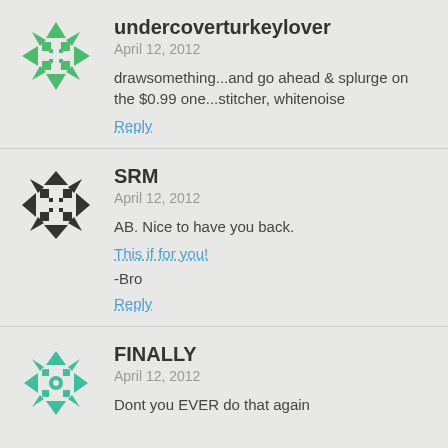[Figure (illustration): Green decorative avatar icon with geometric snowflake/diamond pattern]
undercoverturkeylover
April 12, 2012
drawsomething...and go ahead & splurge on the $0.99 one...stitcher, whitenoise
Reply
[Figure (illustration): Black and white decorative avatar icon with geometric diamond/arrow pattern]
SRM
April 12, 2012
AB. Nice to have you back.
This if for you!
-Bro
Reply
[Figure (illustration): Teal/green decorative avatar icon with geometric snowflake pattern]
FINALLY
April 12, 2012
Dont you EVER do that again